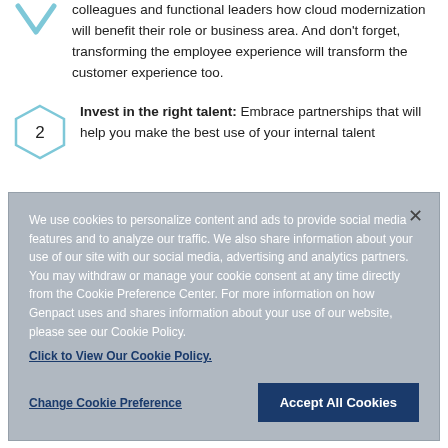colleagues and functional leaders how cloud modernization will benefit their role or business area. And don't forget, transforming the employee experience will transform the customer experience too.
Invest in the right talent: Embrace partnerships that will help you make the best use of your internal talent
We use cookies to personalize content and ads to provide social media features and to analyze our traffic. We also share information about your use of our site with our social media, advertising and analytics partners. You may withdraw or manage your cookie consent at any time directly from the Cookie Preference Center. For more information on how Genpact uses and shares information about your use of our website, please see our Cookie Policy. Click to View Our Cookie Policy.
Change Cookie Preference
Accept All Cookies